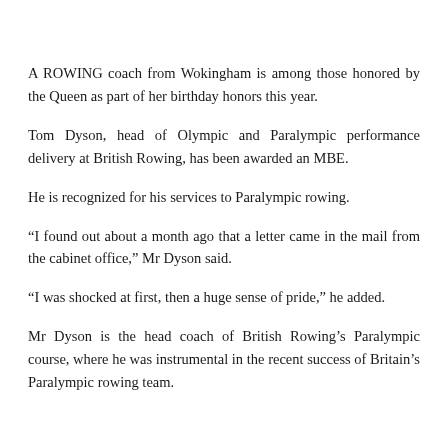A ROWING coach from Wokingham is among those honored by the Queen as part of her birthday honors this year.
Tom Dyson, head of Olympic and Paralympic performance delivery at British Rowing, has been awarded an MBE.
He is recognized for his services to Paralympic rowing.
“I found out about a month ago that a letter came in the mail from the cabinet office,” Mr Dyson said.
“I was shocked at first, then a huge sense of pride,” he added.
Mr Dyson is the head coach of British Rowing’s Paralympic course, where he was instrumental in the recent success of Britain’s Paralympic rowing team.